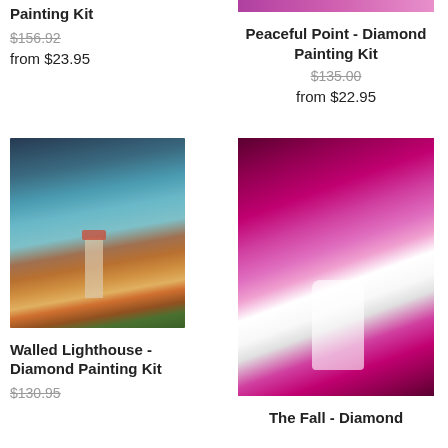Painting Kit
$156.92
from $23.95
[Figure (photo): Peaceful Point Diamond Painting Kit product image - pink/purple foliage at top]
Peaceful Point - Diamond Painting Kit
$135.00
from $22.95
[Figure (photo): Walled Lighthouse at sunset with dramatic orange clouds over the sea]
Walled Lighthouse - Diamond Painting Kit
$130.95
[Figure (photo): Waterfall surrounded by vibrant pink/magenta trees and foliage]
The Fall - Diamond